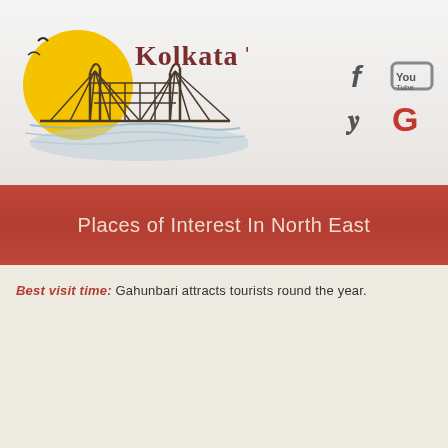[Figure (logo): Kolkata Tours logo with bridge illustration and yellow sun, with social media icons (Facebook, YouTube, Twitter, Google)]
Places of Interest In North East
Best visit time: Gahunbari attracts tourists round the year.